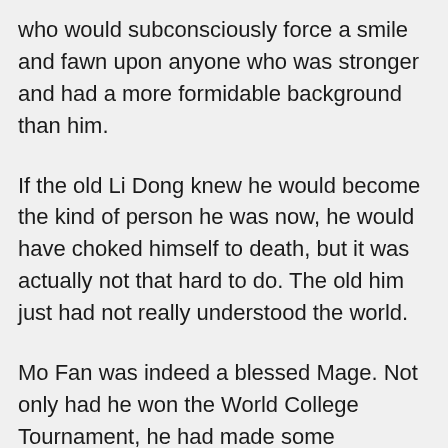who would subconsciously force a smile and fawn upon anyone who was stronger and had a more formidable background than him.
If the old Li Dong knew he would become the kind of person he was now, he would have choked himself to death, but it was actually not that hard to do. The old him just had not really understood the world.
Mo Fan was indeed a blessed Mage. Not only had he won the World College Tournament, he had made some impressive achievements in recent years, too. Li Dong believed Mo Fan did not really have to lower his head in front of anyone if he had not stumbled into Zhao Jing. He could have continued to climb to the